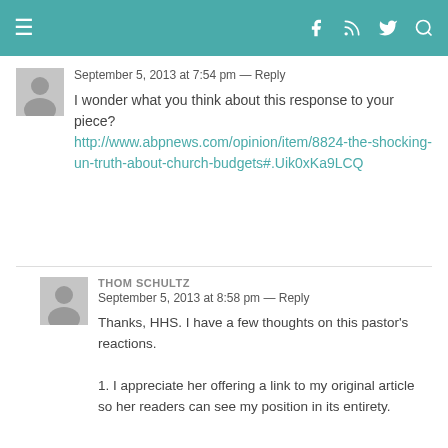≡  [social icons: facebook, rss, twitter, search]
September 5, 2013 at 7:54 pm — Reply
I wonder what you think about this response to your piece? http://www.abpnews.com/opinion/item/8824-the-shocking-un-truth-about-church-budgets#.Uik0xKa9LCQ
THOM SCHULTZ
September 5, 2013 at 8:58 pm — Reply
Thanks, HHS. I have a few thoughts on this pastor's reactions.
1. I appreciate her offering a link to my original article so her readers can see my position in its entirety.